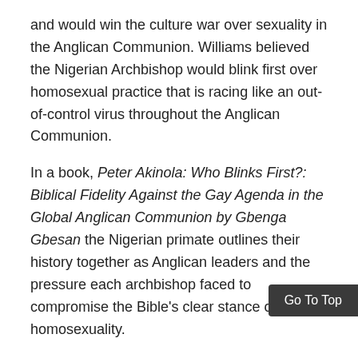and would win the culture war over sexuality in the Anglican Communion. Williams believed the Nigerian Archbishop would blink first over homosexual practice that is racing like an out-of-control virus throughout the Anglican Communion.
In a book, Peter Akinola: Who Blinks First?: Biblical Fidelity Against the Gay Agenda in the Global Anglican Communion by Gbenga Gbesan the Nigerian primate outlines their history together as Anglican leaders and the pressure each archbishop faced to compromise the Bible's clear stance over homosexuality.
Williams said Akinola would blink first, but he was wrong. AIDS dead wrong. The Nigerian leader had been inoculated by the proscriptions of Scripture on homosexuality, while Williams was prepared to nudge Scripture for a postmodern view of sexuality that a secular